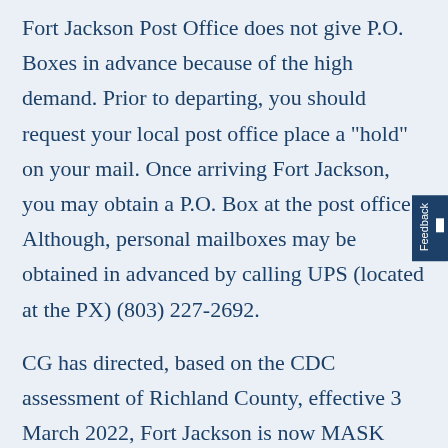Fort Jackson Post Office does not give P.O. Boxes in advance because of the high demand. Prior to departing, you should request your local post office place a "hold" on your mail. Once arriving Fort Jackson, you may obtain a P.O. Box at the post office. Although, personal mailboxes may be obtained in advanced by calling UPS (located at the PX) (803) 227-2692.
CG has directed, based on the CDC assessment of Richland County, effective 3 March 2022, Fort Jackson is now MASK OPTIONAL, except for MEDICAL/DENTAL